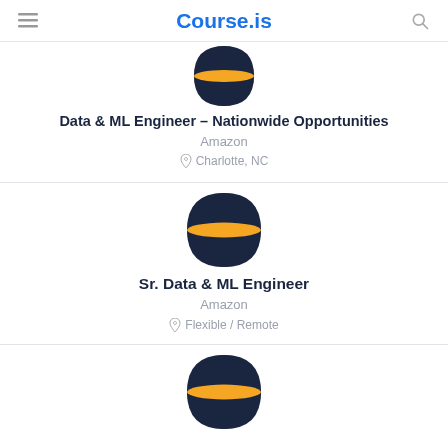Course.is
[Figure (logo): Amazon company logo — dark navy circle with an orange horizontal band]
Data & ML Engineer – Nationwide Opportunities
Amazon
Charlotte, NC
[Figure (logo): Amazon company logo — dark navy circle with an orange horizontal band]
Sr. Data & ML Engineer
Amazon
Flexible / Remote
[Figure (logo): Amazon company logo — dark navy circle with an orange horizontal band (partially visible, bottom of page)]